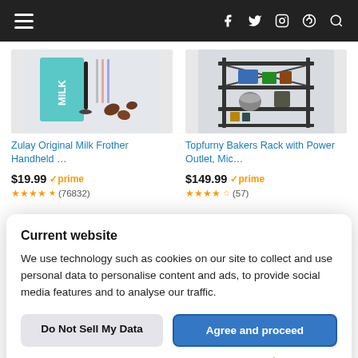Navigation bar with hamburger menu and social icons (f, twitter, instagram, pinterest, search)
[Figure (screenshot): Product listing: Zulay Original Milk Frother Handheld - milk frother product image with box packaging and coffee beans]
Zulay Original Milk Frother Handheld …
$19.99 ✓prime
★★★★½ (76832)
[Figure (screenshot): Product listing: Topfurny Bakers Rack with Power Outlet - black metal shelving unit with microwave and kitchen items]
Topfurny Bakers Rack with Power Outlet, Mic…
$149.99 ✓prime
★★★★½ (57)
Current website
We use technology such as cookies on our site to collect and use personal data to personalise content and ads, to provide social media features and to analyse our traffic.
Do Not Sell My Data
Agree and proceed
Powered by 🛡️niConsent